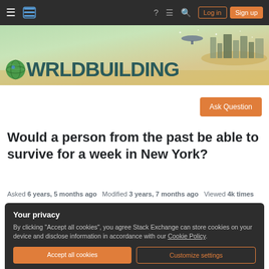Worldbuilding Stack Exchange navigation bar with Log in and Sign up buttons
[Figure (illustration): Worldbuilding Stack Exchange site banner with fantasy cityscape and globe logo]
Ask Question
Would a person from the past be able to survive for a week in New York?
Asked 6 years, 5 months ago   Modified 3 years, 7 months ago   Viewed 4k times
Your privacy
By clicking "Accept all cookies", you agree Stack Exchange can store cookies on your device and disclose information in accordance with our Cookie Policy.
Accept all cookies   Customize settings